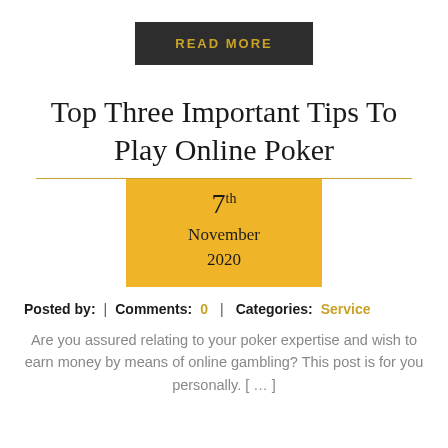READ MORE
Top Three Important Tips To Play Online Poker
7th November 2020
Posted by: | Comments: 0 | Categories: Service
Are you assured relating to your poker expertise and wish to earn money by means of online gambling? This post is for you personally. [ … ]